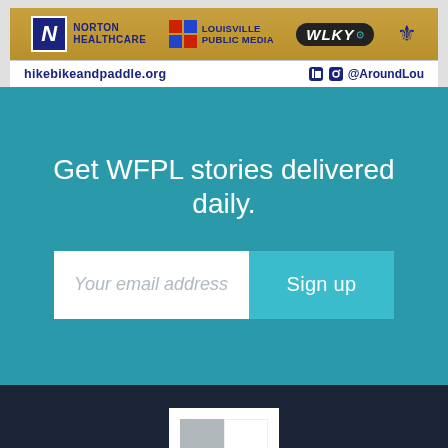[Figure (infographic): Sponsor banner with Norton Healthcare, Louisville Public Media, and WLKY logos on a golden background, with hikebikeandpaddle.org URL and @AroundLou social handle below]
Get WFPL stories delivered daily.
Your email address  Sign up
[Figure (logo): Louisville Public Media logo: four squares in gray, white, teal, and dark navy arranged in a 2x2 grid on white background]